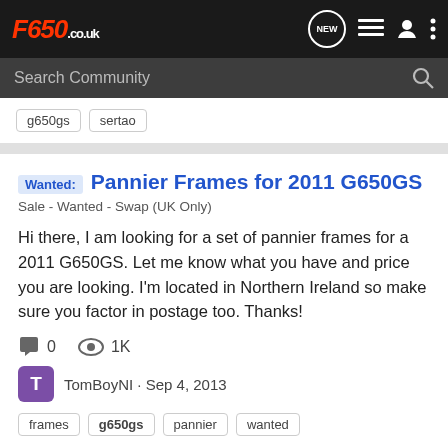F650.co.uk
Search Community
g650gs  sertao
Wanted: Pannier Frames for 2011 G650GS
Sale - Wanted - Swap (UK Only)
Hi there, I am looking for a set of pannier frames for a 2011 G650GS. Let me know what you have and price you are looking. I'm located in Northern Ireland so make sure you factor in postage too. Thanks!
0   1K
TomBoyNI · Sep 4, 2013
frames  g650gs  pannier  wanted